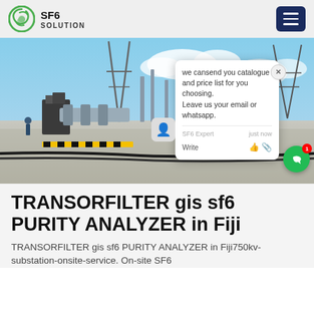SF6 SOLUTION
[Figure (photo): Outdoor SF6 GIS substation site showing electrical equipment, towers, cables and industrial buildings under a cloudy sky. A chat popup overlay reads: 'we can send you catalogue and price list for you choosing. Leave us your email or whatsapp.' With SF6 Expert just now, Write options.]
TRANSORFILTER gis sf6 PURITY ANALYZER in Fiji
TRANSORFILTER gis sf6 PURITY ANALYZER in Fiji750kv-substation-onsite-service. On-site SF6